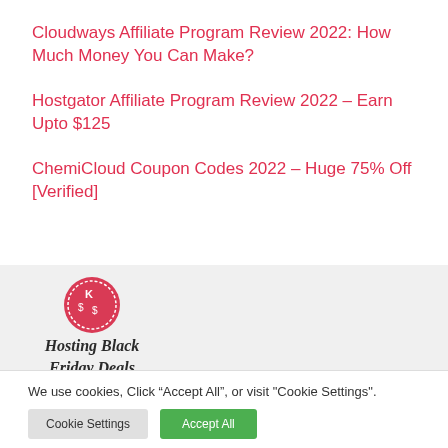Cloudways Affiliate Program Review 2022: How Much Money You Can Make?
Hostgator Affiliate Program Review 2022 – Earn Upto $125
ChemiCloud Coupon Codes 2022 – Huge 75% Off [Verified]
[Figure (logo): Hosting Black Friday Deals logo with red circular badge and script text]
We use cookies, Click “Accept All”, or visit "Cookie Settings".